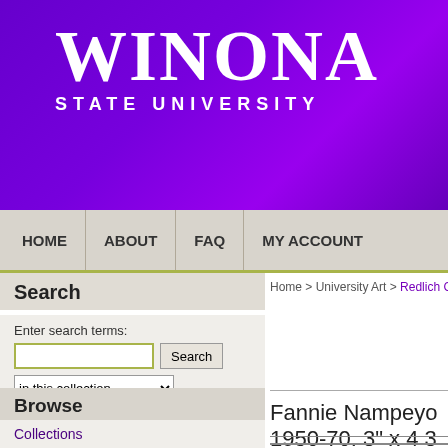[Figure (logo): Winona State University logo — white serif text 'WINONA' large with 'STATE UNIVERSITY' below, on purple gradient background]
HOME   ABOUT   FAQ   MY ACCOUNT
Search
Enter search terms:
in this collection
Advanced Search
Notify me via email or RSS
Browse
Collections
Journals
Authors
Home > University Art > Redlich C
Fannie Nampeyo 1950-70. 3" x 4 3